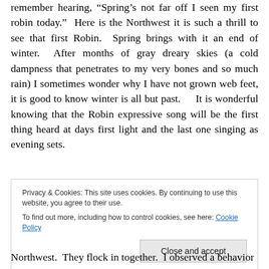remember hearing, “Spring’s not far off I seen my first robin today.”  Here is the Northwest it is such a thrill to see that first Robin.  Spring brings with it an end of winter.  After months of gray dreary skies (a cold dampness that penetrates to my very bones and so much rain) I sometimes wonder why I have not grown web feet, it is good to know winter is all but past.    It is wonderful knowing that the Robin expressive song will be the first thing heard at days first light and the last one singing as evening sets.
Privacy & Cookies: This site uses cookies. By continuing to use this website, you agree to their use. To find out more, including how to control cookies, see here: Cookie Policy
Northwest.  They flock in together.  I observed a behavior